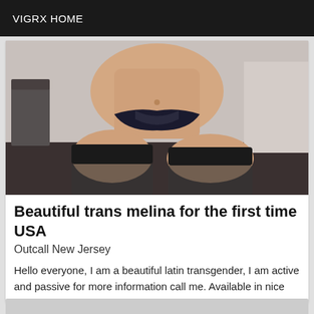VIGRX HOME
[Figure (photo): Close-up photo of a person's midsection wearing black lingerie and black thigh-high stockings, posed on a floor with a blurred background.]
Beautiful trans melina for the first time USA
Outcall New Jersey
Hello everyone, I am a beautiful latin transgender, I am active and passive for more information call me. Available in nice